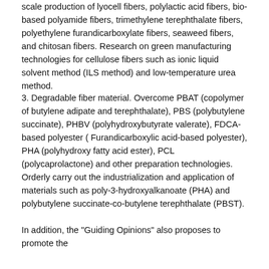scale production of lyocell fibers, polylactic acid fibers, bio-based polyamide fibers, trimethylene terephthalate fibers, polyethylene furandicarboxylate fibers, seaweed fibers, and chitosan fibers. Research on green manufacturing technologies for cellulose fibers such as ionic liquid solvent method (ILS method) and low-temperature urea method.
3. Degradable fiber material. Overcome PBAT (copolymer of butylene adipate and terephthalate), PBS (polybutylene succinate), PHBV (polyhydroxybutyrate valerate), FDCA-based polyester ( Furandicarboxylic acid-based polyester), PHA (polyhydroxy fatty acid ester), PCL (polycaprolactone) and other preparation technologies. Orderly carry out the industrialization and application of materials such as poly-3-hydroxyalkanoate (PHA) and polybutylene succinate-co-butylene terephthalate (PBST).
In addition, the "Guiding Opinions" also proposes to promote the